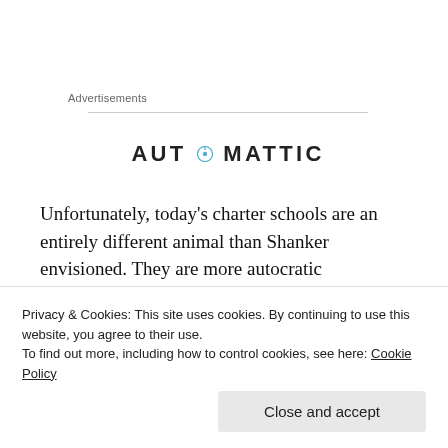Advertisements
[Figure (logo): Automattic logo with stylized letter O containing a compass/circle icon]
Unfortunately, today’s charter schools are an entirely different animal than Shanker envisioned. They are more autocratic (empowering management versus teachers) and more segregated (by race and income) than ever and only about 12 percent of charters
Privacy & Cookies: This site uses cookies. By continuing to use this website, you agree to their use.
To find out more, including how to control cookies, see here: Cookie Policy
Close and accept